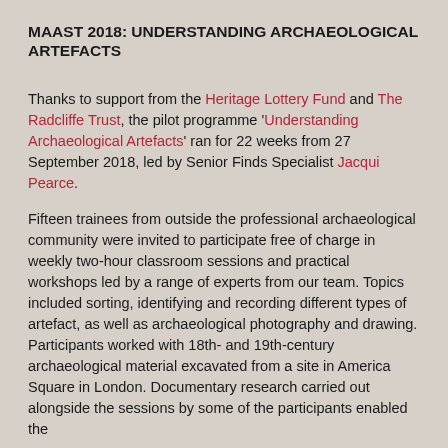MAAST 2018: UNDERSTANDING ARCHAEOLOGICAL ARTEFACTS
Thanks to support from the Heritage Lottery Fund and The Radcliffe Trust, the pilot programme 'Understanding Archaeological Artefacts' ran for 22 weeks from 27 September 2018, led by Senior Finds Specialist Jacqui Pearce.
Fifteen trainees from outside the professional archaeological community were invited to participate free of charge in weekly two-hour classroom sessions and practical workshops led by a range of experts from our team. Topics included sorting, identifying and recording different types of artefact, as well as archaeological photography and drawing. Participants worked with 18th- and 19th-century archaeological material excavated from a site in America Square in London. Documentary research carried out alongside the sessions by some of the participants enabled the